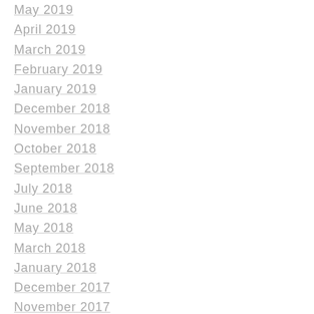May 2019
April 2019
March 2019
February 2019
January 2019
December 2018
November 2018
October 2018
September 2018
July 2018
June 2018
May 2018
March 2018
January 2018
December 2017
November 2017
September 2017
July 2017
May 2017
April 2017